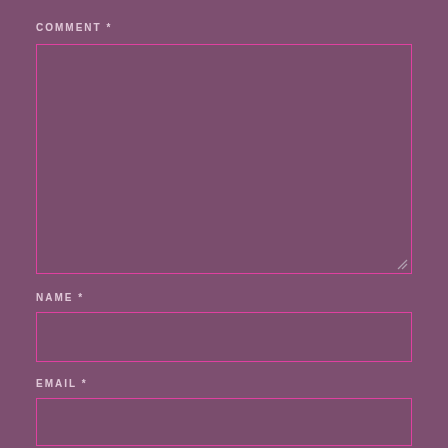COMMENT *
[Figure (other): Large empty comment textarea with pink border and resize handle in bottom-right corner]
NAME *
[Figure (other): Single-line name input field with pink border]
EMAIL *
[Figure (other): Single-line email input field with pink border, partially visible]